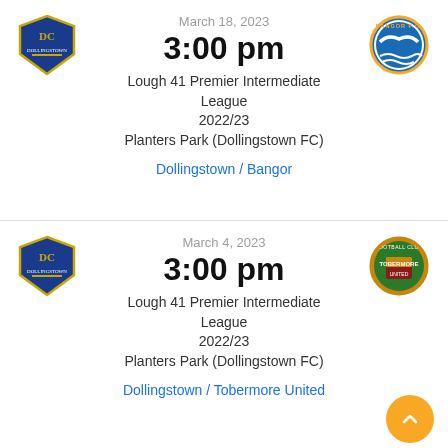[Figure (logo): Dollingstown FC blue shield crest]
[Figure (logo): Bangor FC blue and white seagull crest]
March 18, 2023
3:00 pm
Lough 41 Premier Intermediate League
2022/23
Planters Park (Dollingstown FC)
Dollingstown / Bangor
[Figure (logo): Dollingstown FC blue shield crest]
[Figure (logo): Tobermore United FC orange crest]
March 4, 2023
3:00 pm
Lough 41 Premier Intermediate League
2022/23
Planters Park (Dollingstown FC)
Dollingstown / Tobermore United
[Figure (logo): Orange scroll-to-top button with chevron]
[Figure (logo): Bangor FC blue and white seagull crest (partial)]
[Figure (logo): Dollingstown FC blue shield crest (partial)]
February 25, 2023